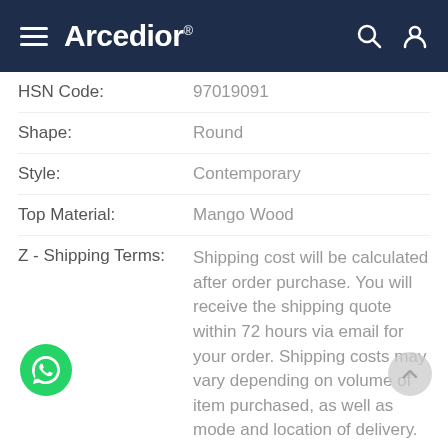Arcedior®
HSN Code: 97019091
Shape: Round
Style: Contemporary
Top Material: Mango Wood
Z - Shipping Terms: Shipping cost will be calculated after order purchase. You will receive the shipping quote within 72 hours via email for your order. Shipping costs may vary depending on volume of item purchased, as well as mode and location of delivery. For International buyers, orders are shipped on a DDU (Delivery Duty Unpaid) basis and subject to